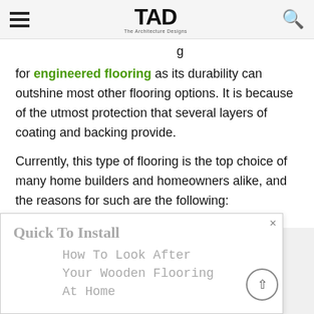TAD – The Architecture Designs
for engineered flooring as its durability can outshine most other flooring options. It is because of the utmost protection that several layers of coating and backing provide.
Currently, this type of flooring is the top choice of many home builders and homeowners alike, and the reasons for such are the following:
[Figure (other): Advertisement overlay with title 'Quick To Install' and subtitle 'How To Look After Your Wooden Flooring At Home' with a close button and scroll-up button]